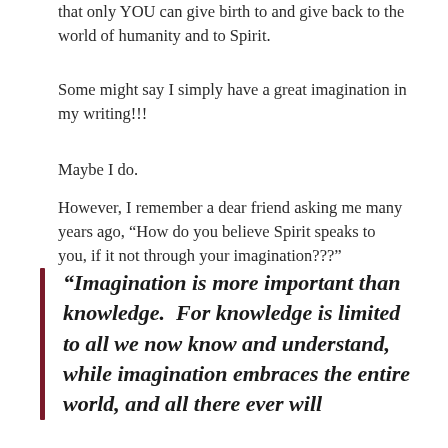that only YOU can give birth to and give back to the world of humanity and to Spirit.
Some might say I simply have a great imagination in my writing!!!
Maybe I do.
However, I remember a dear friend asking me many years ago, “How do you believe Spirit speaks to you, if it not through your imagination???”
“Imagination is more important than knowledge.  For knowledge is limited to all we now know and understand, while imagination embraces the entire world, and all there ever will